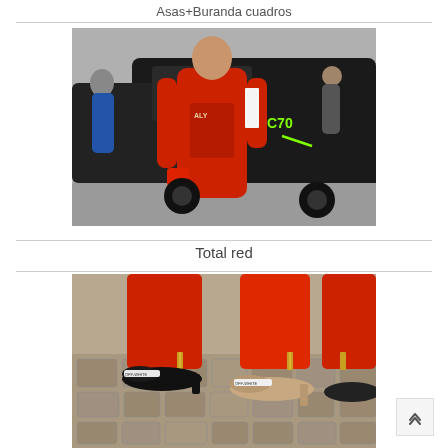Asas+Buranda cuadros
[Figure (photo): Street style photo of a person wearing a complete red outfit — long red coat, red graphic t-shirt, red trousers, and a small red crossbody bag — standing near a black car.]
Total red
[Figure (photo): Close-up street style photo showing the lower half of two people wearing red trousers with gold zipper details at the ankle hem, paired with black and beige mule shoes.]